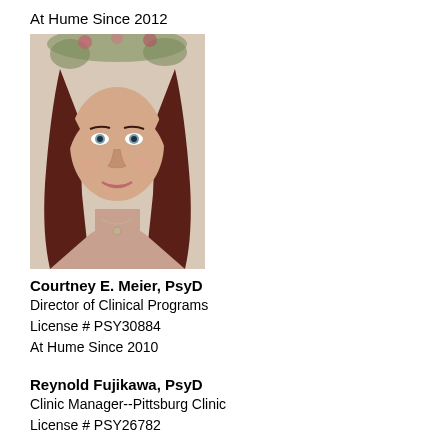At Hume Since 2012
[Figure (photo): Portrait photo of Courtney E. Meier, a woman with long dark red hair, light eyes, and a necklace, smiling at the camera with a floral background.]
Courtney E. Meier, PsyD
Director of Clinical Programs
License # PSY30884
At Hume Since 2010
Reynold Fujikawa, PsyD
Clinic Manager--Pittsburg Clinic
License # PSY26782
Raymond (Joe) Nickerson, PsyD